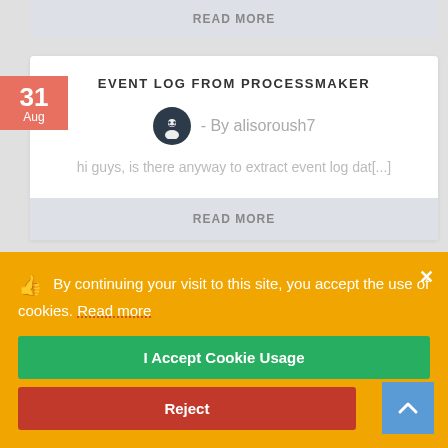READ MORE
EVENT LOG FROM PROCESSMAKER
- By alisoroush7
hi guys, is there anyway to extract event log dat[...]
READ MORE
SENDING MESSAGES WITH WHATSAPP
By continuing your visit to this site, you accept the use of cookies. Read more
I Accept Cookie Usage
Reject